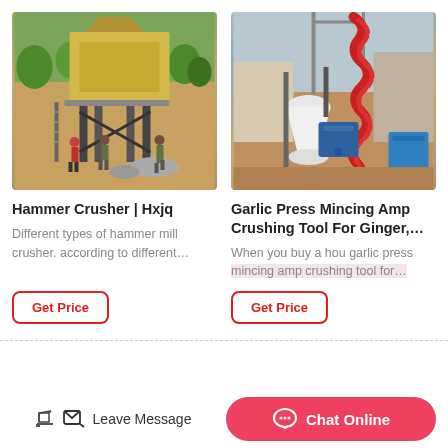[Figure (photo): Outdoor mining/crushing site with large yellow hammer crusher machine elevated on metal frame structure, with three workers on reddish-brown dirt ground, trees in background.]
Hammer Crusher | Hxjq
Different types of hammer mill crusher. according to different…
Get Price
[Figure (photo): Aerial view of industrial mineral processing plant with spiral/helical conveyor belt in red, white cone-shaped separator, blue electric motor, and brown earthen surroundings.]
Garlic Press Mincing Amp Crushing Tool For Ginger,…
When you buy a hou garlic press mincing amp crushing tool for…
Get Price
Leave Message   Chat Online